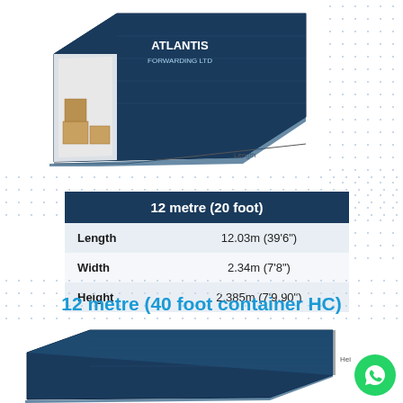[Figure (illustration): Blue shipping container (20 foot) with open doors showing boxes inside, with 'Atlantis Forwarding Ltd' logo, and dimension arrows labeled Width and Length]
|  | 12 metre (20 foot) |
| --- | --- |
| Length | 12.03m (39'6") |
| Width | 2.34m (7'8") |
| Height | 2.385m (7'9.90") |
12 metre (40 foot container HC)
[Figure (illustration): Blue shipping container (40 foot HC) viewed from front-side angle, with Height label on right side, and WhatsApp icon button in bottom-right corner]